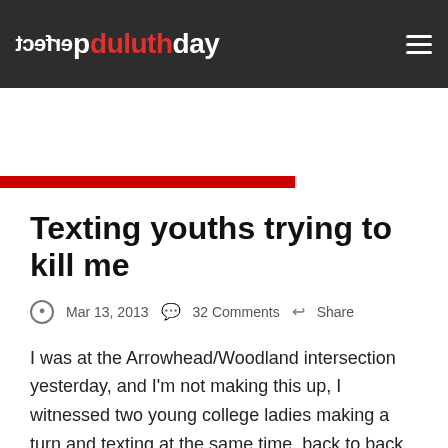perfect duluthday
[Figure (other): Advertisement banner: Vision-Pro Optical 'Buy One, Get One Eyeglasses' on red background (left), Downtown Duluth logo and www.downtowndu... URL on white background (right)]
Texting youths trying to kill me
Mar 13, 2013   32 Comments   Share
I was at the Arrowhead/Woodland intersection yesterday, and I'm not making this up, I witnessed two young college ladies making a turn and texting at the same time, back to back, faces pointed toward their lap when they were turning. I was only at this intersection for 30 seconds — multiply by the the number of times on that stretch of road...